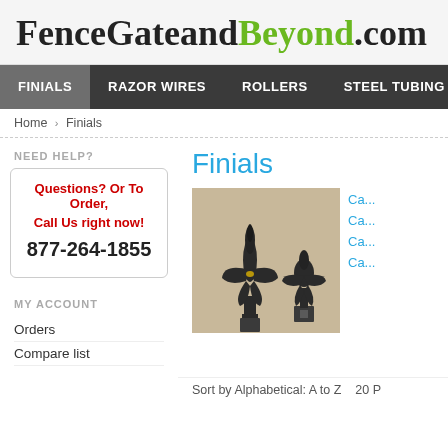FenceGateandBeyond.com
FINIALS  RAZOR WIRES  ROLLERS  STEEL TUBING RINGS
Home › Finials
NEED HELP?
Questions? Or To Order, Call Us right now! 877-264-1855
MY ACCOUNT
Orders
Compare list
Finials
[Figure (photo): Two ornamental iron finials — a fleur-de-lis style on the left and a more compact fleur-de-lis on the right, both dark/black finish, displayed on a light surface]
Ca...
Ca...
Ca...
Ca...
Sort by Alphabetical: A to Z   20 P